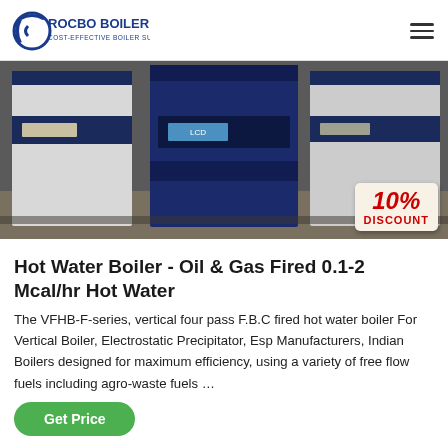ROCBO BOILER - COST-EFFECTIVE BOILER SUPPLIER
[Figure (photo): Industrial hot water boilers (white and dark blue cabinets) in an installation room, with a 10% DISCOUNT badge overlay in the bottom-right corner.]
Hot Water Boiler - Oil & Gas Fired 0.1-2 Mcal/hr Hot Water
The VFHB-F-series, vertical four pass F.B.C fired hot water boiler For Vertical Boiler, Electrostatic Precipitator, Esp Manufacturers, Indian Boilers designed for maximum efficiency, using a variety of free flow fuels including agro-waste fuels …
Get Price